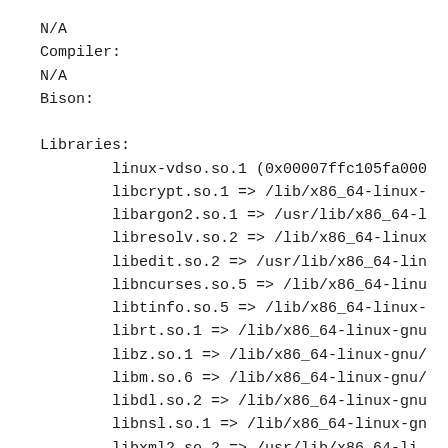N/A
Compiler:
N/A
Bison:

Libraries:
        linux-vdso.so.1 (0x00007ffc105fa000
        libcrypt.so.1 => /lib/x86_64-linux-
        libargon2.so.1 => /usr/lib/x86_64-l
        libresolv.so.2 => /lib/x86_64-linux
        libedit.so.2 => /usr/lib/x86_64-lin
        libncurses.so.5 => /lib/x86_64-linu
        libtinfo.so.5 => /lib/x86_64-linux-
        librt.so.1 => /lib/x86_64-linux-gnu
        libz.so.1 => /lib/x86_64-linux-gnu/
        libm.so.6 => /lib/x86_64-linux-gnu/
        libdl.so.2 => /lib/x86_64-linux-gnu
        libnsl.so.1 => /lib/x86_64-linux-gn
        libxml2.so.2 => /usr/lib/x86_64-li